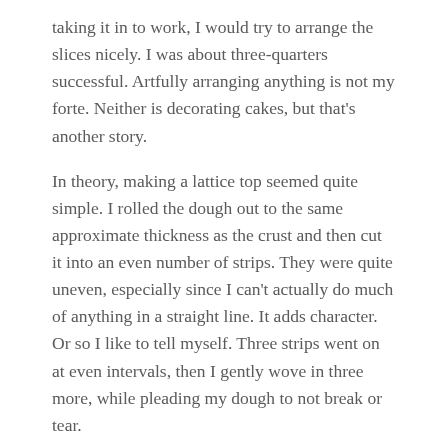taking it in to work, I would try to arrange the slices nicely. I was about three-quarters successful. Artfully arranging anything is not my forte. Neither is decorating cakes, but that's another story.
In theory, making a lattice top seemed quite simple. I rolled the dough out to the same approximate thickness as the crust and then cut it into an even number of strips. They were quite uneven, especially since I can't actually do much of anything in a straight line. It adds character. Or so I like to tell myself. Three strips went on at even intervals, then I gently wove in three more, while pleading my dough to not break or tear.
Baking